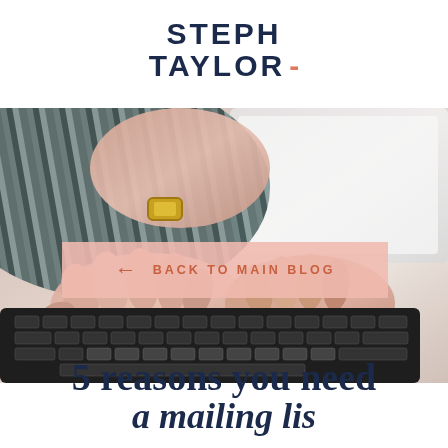STEPH TAYLOR -
[Figure (photo): Person typing on a laptop keyboard, wearing a striped top and gold watch, with another hand visible. Light and airy lifestyle photo.]
← BACK TO MAIN BLOG
5 reasons you need